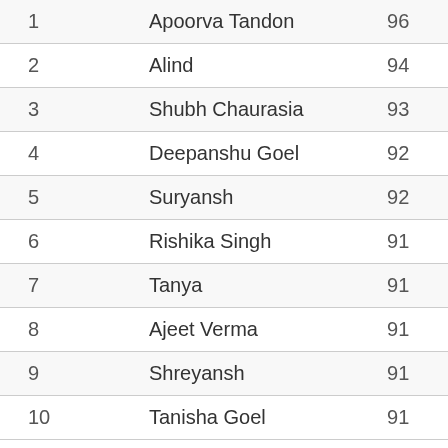| Rank | Name | Score |
| --- | --- | --- |
| 1 | Apoorva Tandon | 96 |
| 2 | Alind | 94 |
| 3 | Shubh Chaurasia | 93 |
| 4 | Deepanshu Goel | 92 |
| 5 | Suryansh | 92 |
| 6 | Rishika Singh | 91 |
| 7 | Tanya | 91 |
| 8 | Ajeet Verma | 91 |
| 9 | Shreyansh | 91 |
| 10 | Tanisha Goel | 91 |